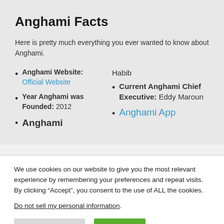Anghami Facts
Here is pretty much everything you ever wanted to know about Anghami.
Anghami Website: Official Website
Year Anghami was Founded: 2012
Anghami [partial, cut off]
Habib
Current Anghami Chief Executive: Eddy Maroun
Anghami App [partial, cut off]
We use cookies on our website to give you the most relevant experience by remembering your preferences and repeat visits. By clicking “Accept”, you consent to the use of ALL the cookies.
Do not sell my personal information.
Cookie Settings  Accept